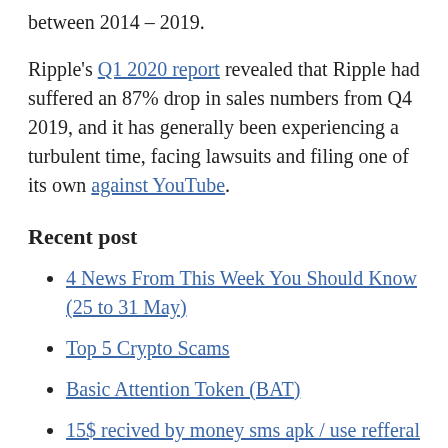between 2014 – 2019.
Ripple's Q1 2020 report revealed that Ripple had suffered an 87% drop in sales numbers from Q4 2019, and it has generally been experiencing a turbulent time, facing lawsuits and filing one of its own against YouTube.
Recent post
4 News From This Week You Should Know (25 to 31 May)
Top 5 Crypto Scams
Basic Attention Token (BAT)
15$ recived by money sms apk / use refferal code